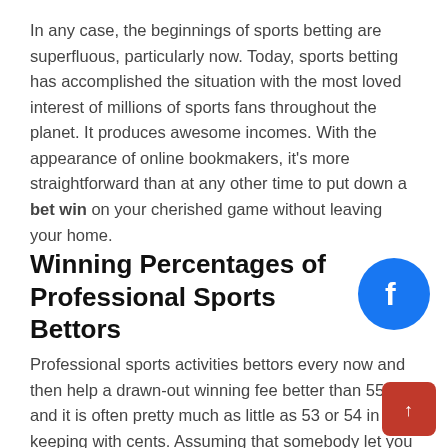In any case, the beginnings of sports betting are superfluous, particularly now. Today, sports betting has accomplished the situation with the most loved interest of millions of sports fans throughout the planet. It produces awesome incomes. With the appearance of online bookmakers, it's more straightforward than at any other time to put down a bet win on your cherished game without leaving your home.
Winning Percentages of Professional Sports Bettors
[Figure (logo): Facebook logo button — blue circle with white 'f' icon]
Professional sports activities bettors every now and then help a drawn-out winning fee better than 55%, and it is often pretty much as little as 53 or 54 in keeping with cents. Assuming that somebody let you know they bet win live stream 70 per cent, or